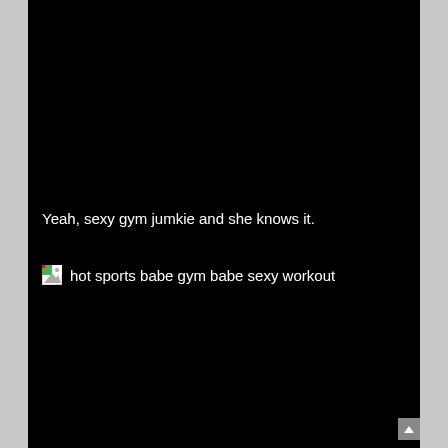Yeah, sexy gym jumkie and she knows it.
[Figure (other): Broken image placeholder with alt text: hot sports babe gym babe sexy workout]